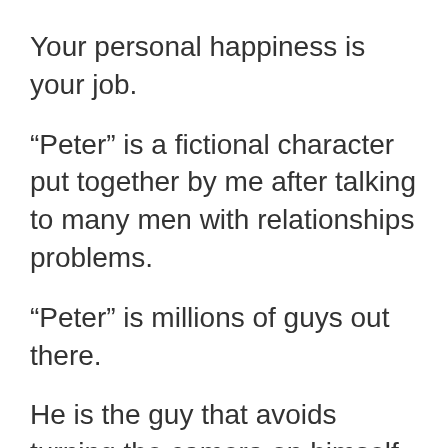Your personal happiness is your job.
“Peter” is a fictional character put together by me after talking to many men with relationships problems.
“Peter” is millions of guys out there.
He is the guy that avoids turning the camera on himself.
He avoids doing the inner work